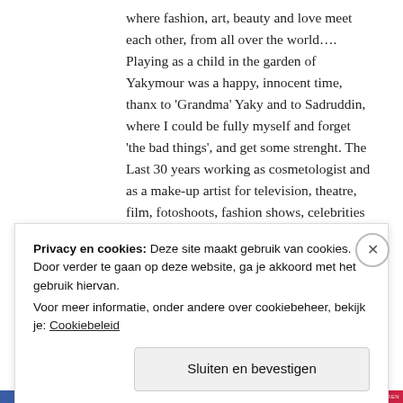where fashion, art, beauty and love meet each other, from all over the world.... Playing as a child in the garden of Yakymour was a happy, innocent time, thanx to 'Grandma' Yaky and to Sadruddin, where I could be fully myself and forget 'the bad things', and get some strenght. The Last 30 years working as cosmetologist and as a make-up artist for television, theatre, film, fotoshoots, fashion shows, celebrities and individuals gave me a trunk full of experience. My work brought me all over the world and had photoshoot's on location in the Netherlands, Germany, Belgium, France, Jordan, Syria,
Privacy en cookies: Deze site maakt gebruik van cookies. Door verder te gaan op deze website, ga je akkoord met het gebruik hiervan.
Voor meer informatie, onder andere over cookiebeheer, bekijk je: Cookiebeleid
Sluiten en bevestigen